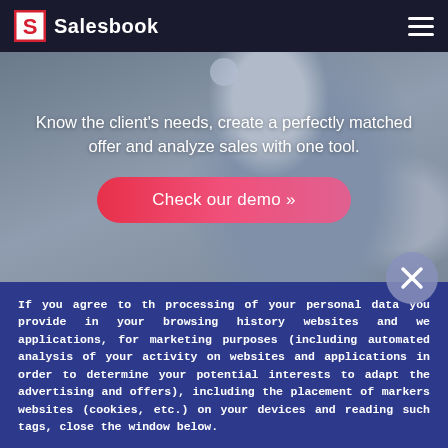Salesbook
[Figure (photo): Person sitting in a gray armchair, blurred background, used as hero banner image]
Know the client's needs, create a perfectly matched offer and analyze sales with one tool.
Check our demo »
If you agree to th processing of your personal data you provide in your browsing history websites and we applications, for marketing purposes (including automated analysis of your activity on websites and applications in order to determine your potential interests to adapt the advertising and offers), including the placement of markers websites (cookies, etc.) on your devices and reading such tags, close the window below.
Learn more »